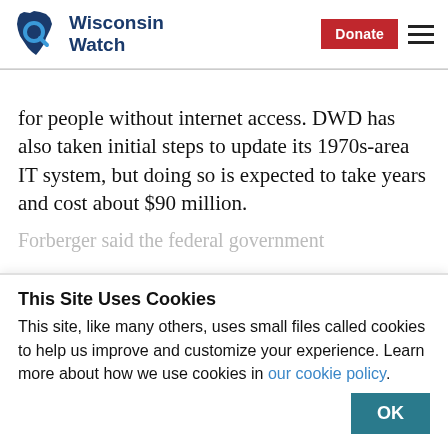Wisconsin Watch
for people without internet access. DWD has also taken initial steps to update its 1970s-area IT system, but doing so is expected to take years and cost about $90 million.
Forberger said the federal government
This Site Uses Cookies
This site, like many others, uses small files called cookies to help us improve and customize your experience. Learn more about how we use cookies in our cookie policy.